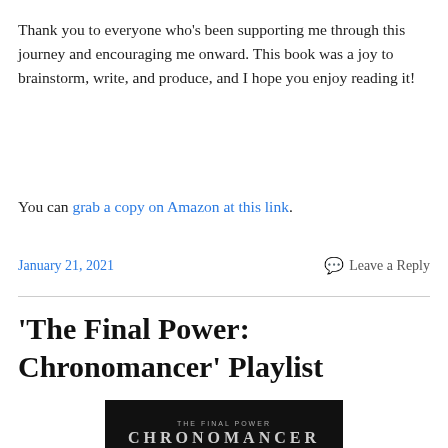Thank you to everyone who's been supporting me through this journey and encouraging me onward. This book was a joy to brainstorm, write, and produce, and I hope you enjoy reading it!
You can grab a copy on Amazon at this link.
January 21, 2021    Leave a Reply
'The Final Power: Chronomancer' Playlist
[Figure (photo): Book cover image for 'The Final Power: Chronomancer' showing dark background with the title text]